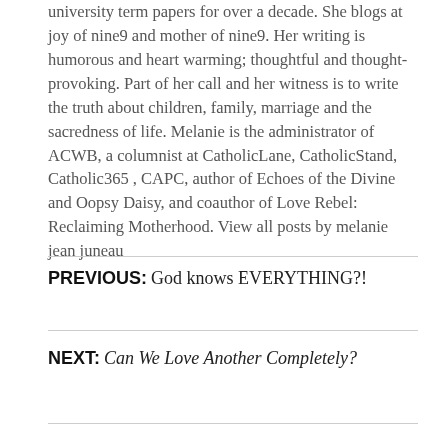university term papers for over a decade. She blogs at joy of nine9 and mother of nine9. Her writing is humorous and heart warming; thoughtful and thought-provoking. Part of her call and her witness is to write the truth about children, family, marriage and the sacredness of life. Melanie is the administrator of ACWB, a columnist at CatholicLane, CatholicStand, Catholic365 , CAPC, author of Echoes of the Divine and Oopsy Daisy, and coauthor of Love Rebel: Reclaiming Motherhood. View all posts by melanie jean juneau
PREVIOUS: God knows EVERYTHING?!
NEXT: Can We Love Another Completely?